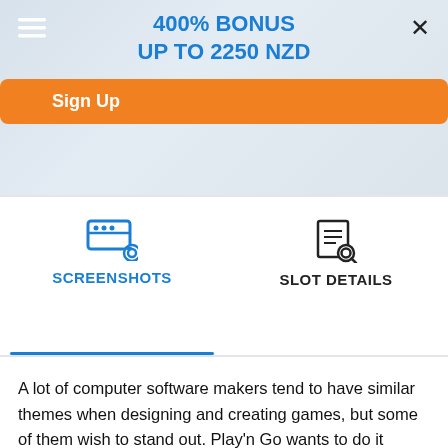[Figure (screenshot): Casino website banner with 400% BONUS UP TO 2250 NZD text in blue, orange Sign Up button, hamburger menu icon on left, X close button on top right, on a light blue-grey background]
SCREENSHOTS
SLOT DETAILS
A lot of computer software makers tend to have similar themes when designing and creating games, but some of them wish to stand out. Play'n Go wants to do it better, and that can be seen